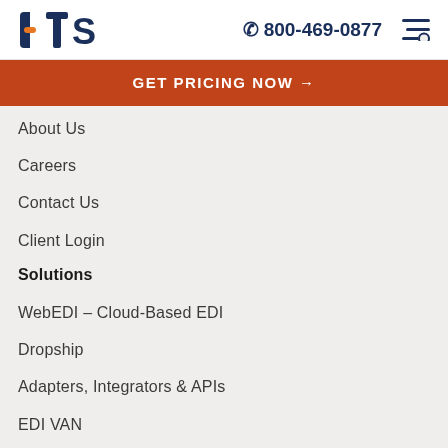[Figure (logo): DTS logo with orange dash and dark blue letters]
800-469-0877
GET PRICING NOW →
About Us
Careers
Contact Us
Client Login
Solutions
WebEDI – Cloud-Based EDI
Dropship
Adapters, Integrators & APIs
EDI VAN
Branded Procurement
Switch to DataTrans
EDI Service Provider
Resources
Trading Partner Directory